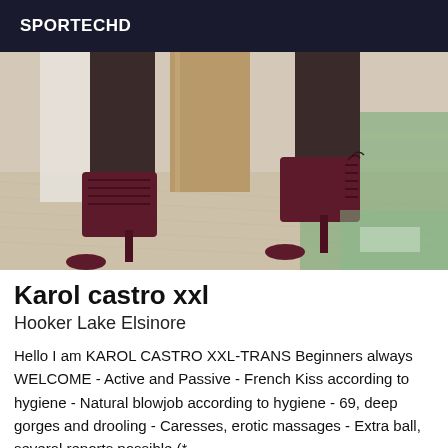SPORTECHD
[Figure (photo): Close-up photo of two legs wearing dark stockings and burgundy/dark red lace-up high heel ankle boots, standing on a light wood herringbone floor with a green pool and wooden pillar visible in the background.]
Karol castro xxl
Hooker Lake Elsinore
Hello I am KAROL CASTRO XXL-TRANS Beginners always WELCOME - Active and Passive - French Kiss according to hygiene - Natural blowjob according to hygiene - 69, deep gorges and drooling - Caresses, erotic massages - Extra ball, several reports possible (*